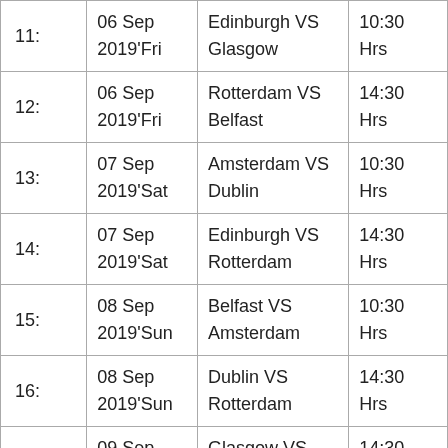| # | Date | Match | Time |
| --- | --- | --- | --- |
| 11: | 06 Sep 2019'Fri | Edinburgh VS Glasgow | 10:30 Hrs |
| 12: | 06 Sep 2019'Fri | Rotterdam VS Belfast | 14:30 Hrs |
| 13: | 07 Sep 2019'Sat | Amsterdam VS Dublin | 10:30 Hrs |
| 14: | 07 Sep 2019'Sat | Edinburgh VS Rotterdam | 14:30 Hrs |
| 15: | 08 Sep 2019'Sun | Belfast VS Amsterdam | 10:30 Hrs |
| 16: | 08 Sep 2019'Sun | Dublin VS Rotterdam | 14:30 Hrs |
| 17: | 09 Sep 2019'Mon | Glasgow VS Rotterdam | 14:30 Hrs |
| 18: | 10 Sep 2019'Tue | Edinburgh VS Dublin | 14:30 Hrs |